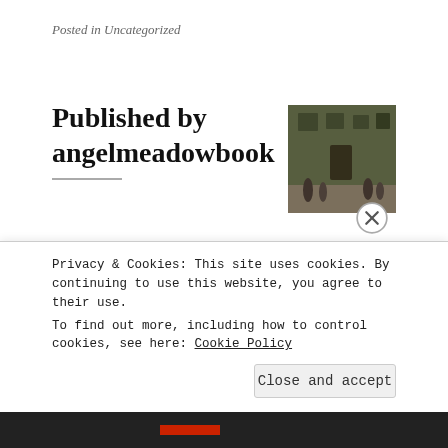Posted in Uncategorized
Published by angelmeadowbook
[Figure (photo): Sepia-toned historical photograph of a Victorian-era building or courtyard, showing old architecture with figures in the foreground.]
Step into the Victorian underworld of Angel Meadow, the vilest and most dangerous slum of the Industrial Revolution. In the shadow of the world's first cotton mill, 30,000 souls trapped by poverty are fighting for survival as the British Empire is built upon their backs.
Privacy & Cookies: This site uses cookies. By continuing to use this website, you agree to their use.
To find out more, including how to control cookies, see here: Cookie Policy
Close and accept